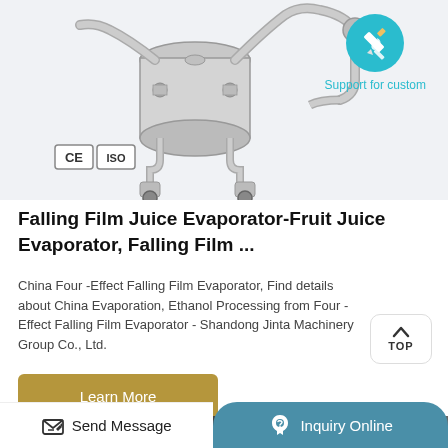[Figure (photo): Industrial falling film evaporator machine made of stainless steel with pipes and valves, shown on white background. CE and ISO certification badges visible in the lower left of the image area.]
[Figure (illustration): Teal circular icon with a pencil/wrench symbol representing customization support. Text below reads 'Support for custom'.]
Falling Film Juice Evaporator-Fruit Juice Evaporator, Falling Film ...
China Four -Effect Falling Film Evaporator, Find details about China Evaporation, Ethanol Processing from Four -Effect Falling Film Evaporator - Shandong Jinta Machinery Group Co., Ltd.
[Figure (other): TOP navigation button with upward arrow]
Learn More
[Figure (photo): Three partial product images shown at the bottom of the page]
Send Message
Inquiry Online